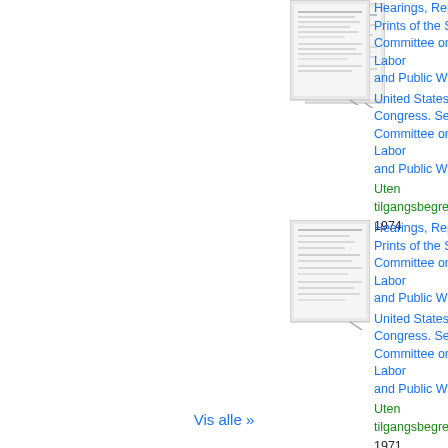[Figure (illustration): Thumbnail image of a document cover for Hearings, Reports and Prints of the Senate Committee on Labor and Public Welfare, 1974]
Hearings, Reports and Prints of the Senate Committee on Labor and Public Welfare
United States. Congress. Senate. Committee on Labor and Public Welfare
Uten tilgangsbegrensning
1974
[Figure (illustration): Thumbnail image of a document cover for Hearings, Reports and Prints of the Senate Committee on Labor and Public Welfare, 1971]
Hearings, Reports and Prints of the Senate Committee on Labor and Public Welfare
United States. Congress. Senate. Committee on Labor and Public Welfare
Uten tilgangsbegrensning
1971
Vis alle »